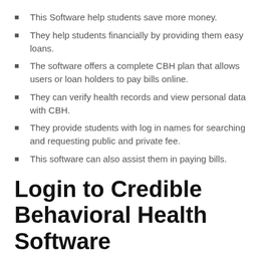This Software help students save more money.
They help students financially by providing them easy loans.
The software offers a complete CBH plan that allows users or loan holders to pay bills online.
They can verify health records and view personal data with CBH.
They provide students with log in names for searching and requesting public and private fee.
This software can also assist them in paying bills.
Login to Credible Behavioral Health Software